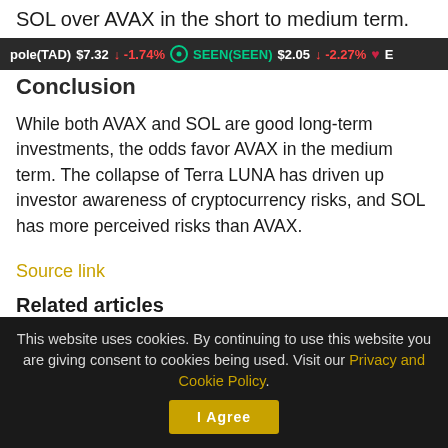SOL over AVAX in the short to medium term.
[Figure (screenshot): Cryptocurrency ticker bar showing: pole(TAD) $7.32 ↓ -1.74%, SEEN(SEEN) $2.05 ↓ -2.27%, E...]
Conclusion
While both AVAX and SOL are good long-term investments, the odds favor AVAX in the medium term. The collapse of Terra LUNA has driven up investor awareness of cryptocurrency risks, and SOL has more perceived risks than AVAX.
Source link
Related articles
This website uses cookies. By continuing to use this website you are giving consent to cookies being used. Visit our Privacy and Cookie Policy.